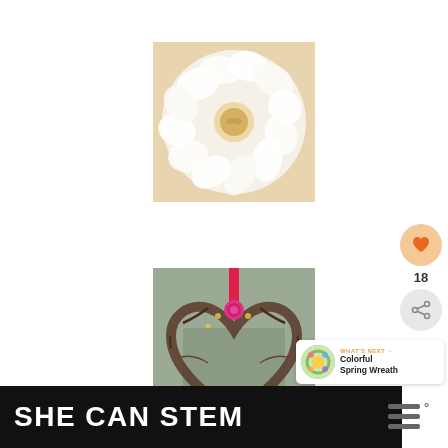[Figure (photo): Overhead view of a white ruffled fabric or paper wreath on a light wooden background]
[Figure (photo): Heart-shaped twig/branch wreath with pink and red roses, hanging on a door with a red ribbon]
[Figure (infographic): Like button (heart icon) in orange circle, number 18, share icon in gray circle]
[Figure (infographic): What's Next panel with thumbnail of colorful spring wreath and text 'Colorful Spring Wreath']
SHE CAN STEM
[Figure (logo): Triple bar logo with degree symbol on right side, dark/gray color]